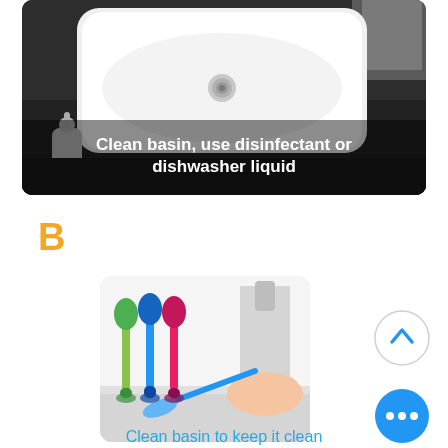[Figure (photo): Photo of a white rectangular basin/sink on a dark counter with a small soap dispenser, overlaid with white text: 'Clean basin, use disinfectant or dishwasher liquid']
Clean basin, use disinfectant or dishwasher liquid
B
[Figure (photo): Photo of several colorful long-handled cleaning brushes (green, blue, pink) standing upright and one being used to clean a sink/basin by a hand]
Clean basin to keep it clean